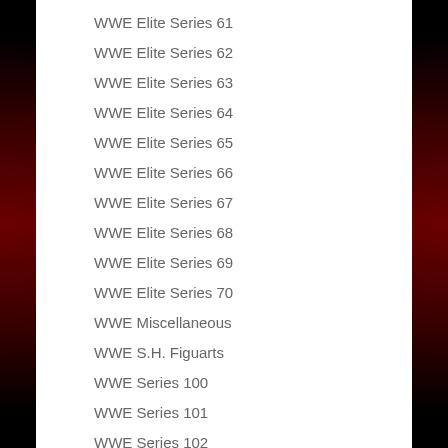WWE Elite Series 61
WWE Elite Series 62
WWE Elite Series 63
WWE Elite Series 64
WWE Elite Series 65
WWE Elite Series 66
WWE Elite Series 67
WWE Elite Series 68
WWE Elite Series 69
WWE Elite Series 70
WWE Miscellaneous
WWE S.H. Figuarts
WWE Series 100
WWE Series 101
WWE Series 102
WWE Series 40
WWE Series 41
WWE Series 42